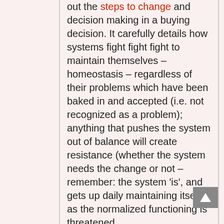out the steps to change and decision making in a buying decision. It carefully details how systems fight fight fight to maintain themselves – homeostasis – regardless of their problems which have been baked in and accepted (i.e. not recognized as a problem); anything that pushes the system out of balance will create resistance (whether the system needs the change or not – remember: the system 'is', and gets up daily maintaining itself) as the normalized functioning is threatened.
Giving information too early, before a system can learn how to adopt change so any disruption is